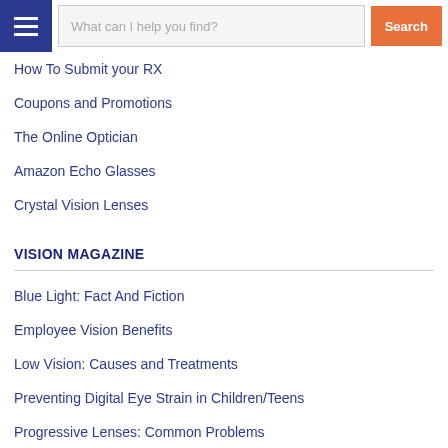What can I help you find? Search
How To Submit your RX
Coupons and Promotions
The Online Optician
Amazon Echo Glasses
Crystal Vision Lenses
VISION MAGAZINE
Blue Light: Fact And Fiction
Employee Vision Benefits
Low Vision: Causes and Treatments
Preventing Digital Eye Strain in Children/Teens
Progressive Lenses: Common Problems
Prescription Sunglasses or Photochromic Lenses?
ABOUT US